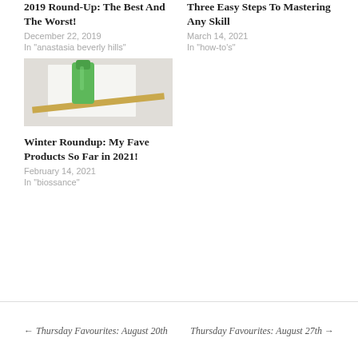2019 Round-Up: The Best And The Worst!
December 22, 2019
In "anastasia beverly hills"
Three Easy Steps To Mastering Any Skill
March 14, 2021
In "how-to's"
[Figure (photo): Green cosmetic tube and gold makeup brush/pencil on white background]
Winter Roundup: My Fave Products So Far in 2021!
February 14, 2021
In "biossance"
← Thursday Favourites: August 20th    Thursday Favourites: August 27th →